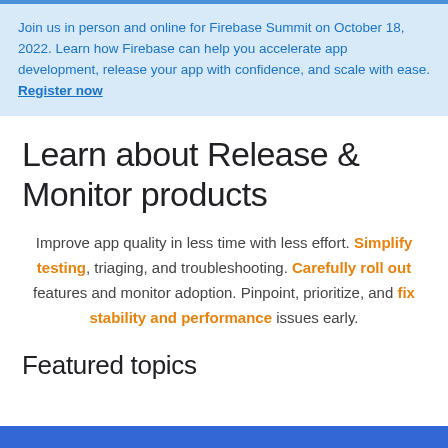Join us in person and online for Firebase Summit on October 18, 2022. Learn how Firebase can help you accelerate app development, release your app with confidence, and scale with ease. Register now
Learn about Release & Monitor products
Improve app quality in less time with less effort. Simplify testing, triaging, and troubleshooting. Carefully roll out features and monitor adoption. Pinpoint, prioritize, and fix stability and performance issues early.
Featured topics